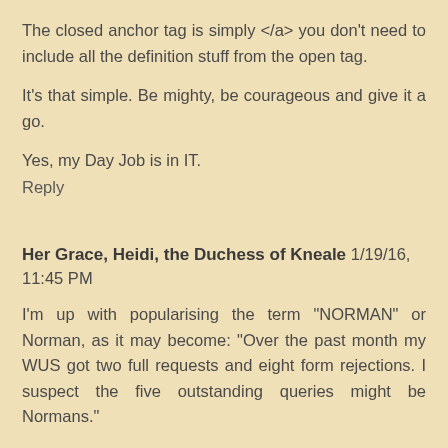The closed anchor tag is simply </a> you don't need to include all the definition stuff from the open tag.
It's that simple. Be mighty, be courageous and give it a go.
Yes, my Day Job is in IT.
Reply
Her Grace, Heidi, the Duchess of Kneale  1/19/16, 11:45 PM
I'm up with popularising the term "NORMAN" or Norman, as it may become: "Over the past month my WUS got two full requests and eight form rejections. I suspect the five outstanding queries might be Normans."
Normans frustrate me because I don't know officially if my WUS has been rejected or if the agent is simply taking a long time.
I believe it's not best practice to have more than one